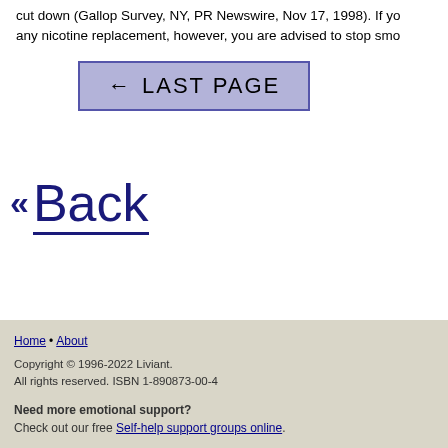cut down (Gallop Survey, NY, PR Newswire, Nov 17, 1998). If you use any nicotine replacement, however, you are advised to stop smo
← LAST PAGE
« Back
Home • About
Copyright © 1996-2022 Liviant.
All rights reserved. ISBN 1-890873-00-4
Need more emotional support?
Check out our free Self-help support groups online.